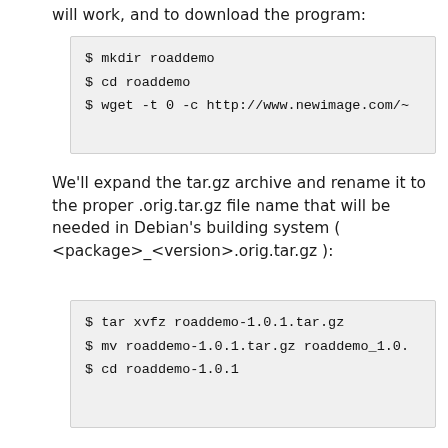will work, and to download the program:
[Figure (screenshot): Code block showing shell commands: $ mkdir roaddemo, $ cd roaddemo, $ wget -t 0 -c http://www.newimage.com/~]
We'll expand the tar.gz archive and rename it to the proper .orig.tar.gz file name that will be needed in Debian's building system ( <package>_<version>.orig.tar.gz ):
[Figure (screenshot): Code block showing shell commands: $ tar xvfz roaddemo-1.0.1.tar.gz, $ mv roaddemo-1.0.1.tar.gz roaddemo_1.0., $ cd roaddemo-1.0.1]
The code expands itself in a directory called